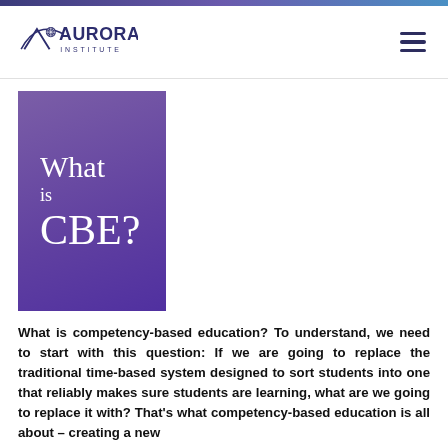[Figure (logo): Aurora Institute logo with mountain/arc graphic and text 'AURORA INSTITUTE']
[Figure (illustration): Purple square graphic with white serif text reading 'What is CBE?']
What is competency-based education? To understand, we need to start with this question: If we are going to replace the traditional time-based system designed to sort students into one that reliably makes sure students are learning, what are we going to replace it with? That’s what competency-based education is all about – creating a new